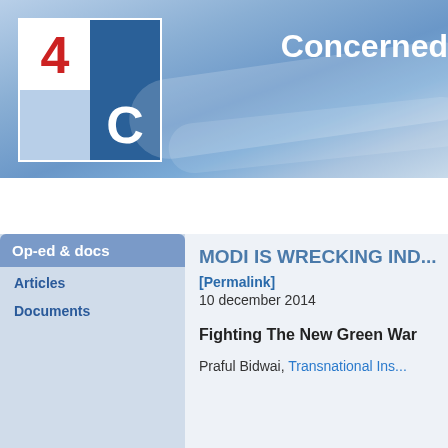[Figure (logo): 4C logo: grid of four squares with red '4' top-left, dark blue top-right, light blue bottom-left, dark blue with white 'C' bottom-right]
Concerned
Welcome | Petition | News | Events | Op-ed & docs
Op-ed & docs
Articles
Documents
MODI IS WRECKING IND...
[Permalink]
10 december 2014
Fighting The New Green War
Praful Bidwai, Transnational Ins...